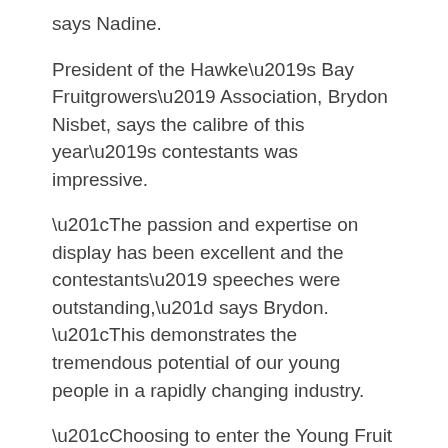says Nadine.
President of the Hawke's Bay Fruitgrowers' Association, Brydon Nisbet, says the calibre of this year's contestants was impressive.
“The passion and expertise on display has been excellent and the contestants’ speeches were outstanding,” says Brydon. “This demonstrates the tremendous potential of our young people in a rapidly changing industry.
“Choosing to enter the Young Fruit Grower competition and testing themselves with their peers is courageous in itself and I applaud all the contestants for that.
“Our industry sees the value of the competition, particularly the dividends it pays for each